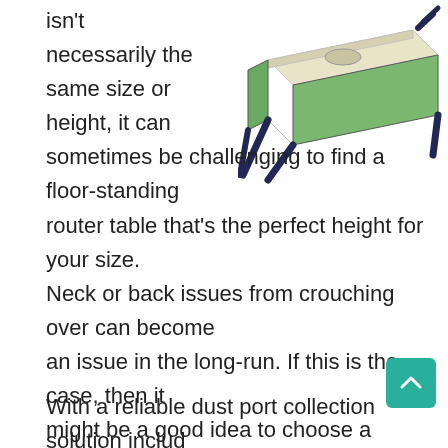[Figure (illustration): A router table product image showing a white and green benchtop router table with dark blue/black legs, viewed from the front-left angle.]
isn't necessarily the same size or height, it can sometimes be challenging to find a floor-standing router table that's the perfect height for your size. Neck or back issues from crouching over can become an issue in the long-run. If this is the case, then it might be a good idea to choose a benchtop router instead. The Charnwood W012 is highly effective universal as it can be used with any quarter-inch router.
With a reliable dust port collection solution included, this Charnwood router table converts your standard